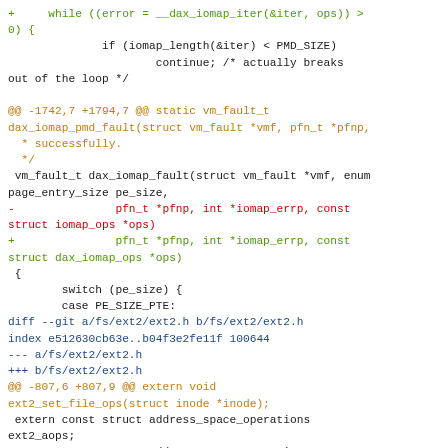Git diff code patch showing changes to dax_iomap and ext2 kernel source files